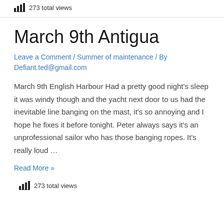273 total views
March 9th Antigua
Leave a Comment / Summer of maintenance / By Defiant.ted@gmail.com
March 9th English Harbour Had a pretty good night's sleep it was windy though and the yacht next door to us had the inevitable line banging on the mast, it's so annoying and I hope he fixes it before tonight. Peter always says it's an unprofessional sailor who has those banging ropes. It's really loud …
Read More »
273 total views